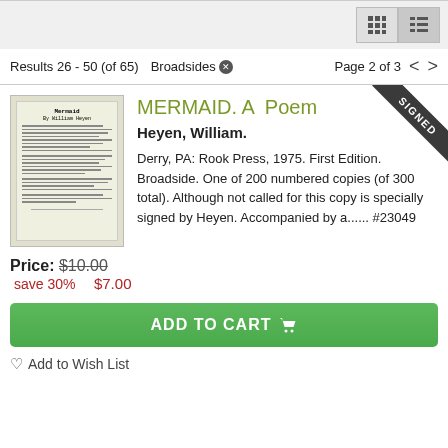Results 26 - 50 (of 65)  Broadsides  Page 2 of 3
[Figure (photo): Photograph of a broadside poem titled 'Mermaid' with text in typewriter font on cream paper]
MERMAID. A Poem
Heyen, William.
Derry, PA: Rook Press, 1975. First Edition. Broadside. One of 200 numbered copies (of 300 total). Although not called for this copy is specially signed by Heyen. Accompanied by a...... #23049
Price: $10.00
save 30%  $7.00
ADD TO CART
Add to Wish List